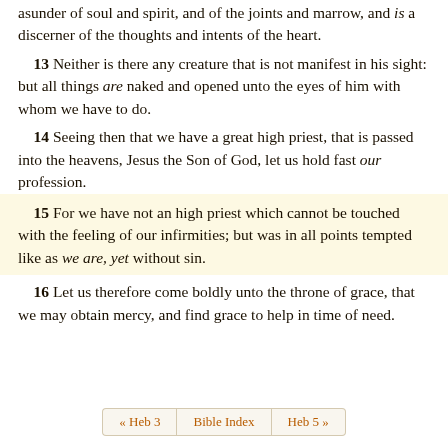asunder of soul and spirit, and of the joints and marrow, and is a discerner of the thoughts and intents of the heart.
13 Neither is there any creature that is not manifest in his sight: but all things are naked and opened unto the eyes of him with whom we have to do.
14 Seeing then that we have a great high priest, that is passed into the heavens, Jesus the Son of God, let us hold fast our profession.
15 For we have not an high priest which cannot be touched with the feeling of our infirmities; but was in all points tempted like as we are, yet without sin.
16 Let us therefore come boldly unto the throne of grace, that we may obtain mercy, and find grace to help in time of need.
« Heb 3   Bible Index   Heb 5 »